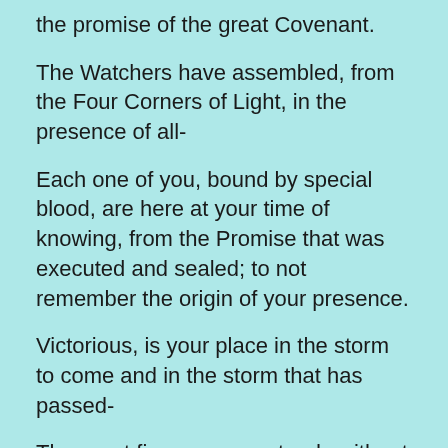the promise of the great Covenant.
The Watchers have assembled, from the Four Corners of Light, in the presence of all-
Each one of you, bound by special blood, are here at your time of knowing, from the Promise that was executed and sealed; to not remember the origin of your presence.
Victorious, is your place in the storm to come and in the storm that has passed-
The great fire essence, stands without fear, burning the new path; finding its way back